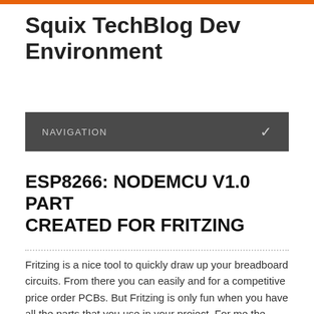Squix TechBlog Dev Environment
NAVIGATION
ESP8266: NODEMCU V1.0 PART CREATED FOR FRITZING
Fritzing is a nice tool to quickly draw up your breadboard circuits. From there you can easily and for a competitive price order PCBs. But Fritzing is only fun when you have all the parts that you use in your project. For me the NodeMCU V1.0 that I